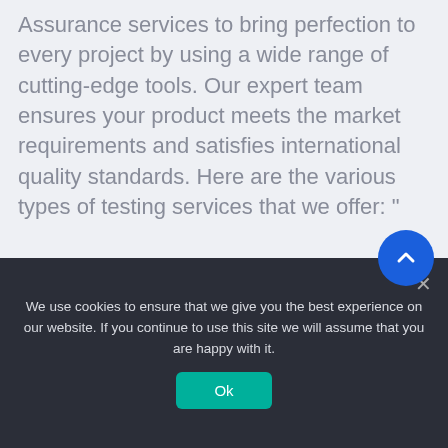" Softgainz Technologies offers Quality Assurance services to bring perfection to every project by using a wide range of cutting-edge tools. Our expert team ensures your product meets the market requirements and satisfies international quality standards. Here are the various types of testing services that we offer: "
Functional Testing
Regression Testing
We use cookies to ensure that we give you the best experience on our website. If you continue to use this site we will assume that you are happy with it.